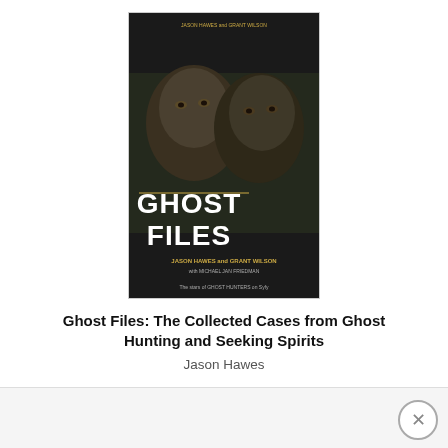[Figure (photo): Book cover of 'Ghost Files: The Collected Cases from Ghost Hunting and Seeking Spirits' by Jason Hawes and Grant Wilson, showing two men's faces in dark, atmospheric lighting with yellow title text.]
Ghost Files: The Collected Cases from Ghost Hunting and Seeking Spirits
Jason Hawes
[Figure (infographic): Social sharing buttons row: Facebook (blue f), Twitter (blue bird), Email (grey envelope), Pinterest (red P), WhatsApp (green phone), Print (grey printer), Gmail (red M), LinkedIn (blue in), Google (blue G), More (orange +)]
» Cemeteries near heydour, UK-H7
» Find museums in heydour, UK-H7